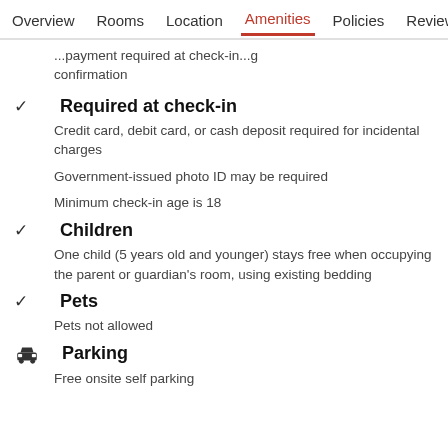Overview  Rooms  Location  Amenities  Policies  Reviews
...payment required at check-in...g confirmation
Required at check-in
Credit card, debit card, or cash deposit required for incidental charges
Government-issued photo ID may be required
Minimum check-in age is 18
Children
One child (5 years old and younger) stays free when occupying the parent or guardian's room, using existing bedding
Pets
Pets not allowed
Parking
Free onsite self parking